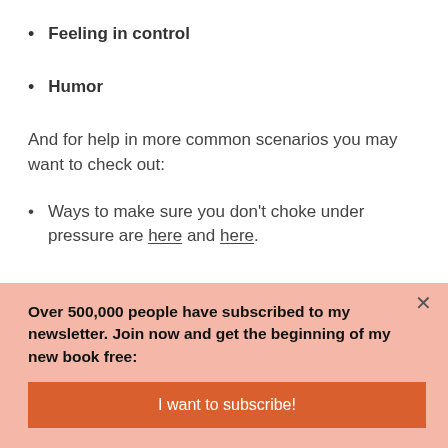Feeling in control
Humor
And for help in more common scenarios you may want to check out:
Ways to make sure you don't choke under pressure are here and here.
Over 500,000 people have subscribed to my newsletter. Join now and get the beginning of my new book free:
I want to subscribe!